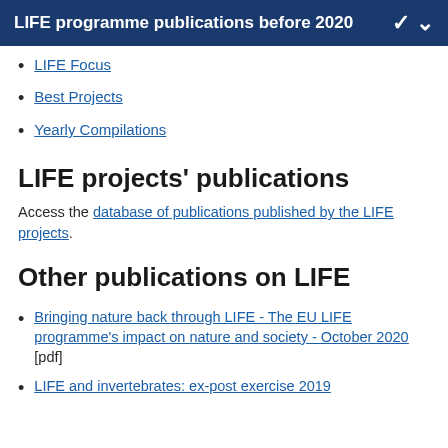LIFE programme publications before 2020
LIFE Focus
Best Projects
Yearly Compilations
LIFE projects' publications
Access the database of publications published by the LIFE projects.
Other publications on LIFE
Bringing nature back through LIFE - The EU LIFE programme's impact on nature and society - October 2020 [pdf]
LIFE and invertebrates: ex-post exercise 2019